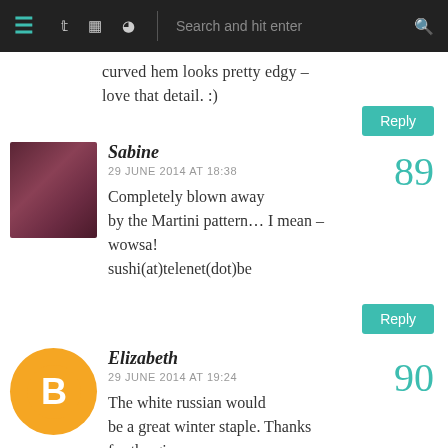Navigation bar with menu, Twitter, Instagram, Pinterest icons and search
curved hem looks pretty edgy – love that detail. :)
[Figure (photo): Avatar photo of Sabine, showing a person with dark reddish-purple hair]
Sabine
29 JUNE 2014 AT 18:38
89
Completely blown away by the Martini pattern… I mean – wowsa! sushi(at)telenet(dot)be
[Figure (logo): Blogger orange circle logo with white B letter for Elizabeth's avatar]
Elizabeth
29 JUNE 2014 AT 19:24
90
The white russian would be a great winter staple. Thanks for the giveaway.